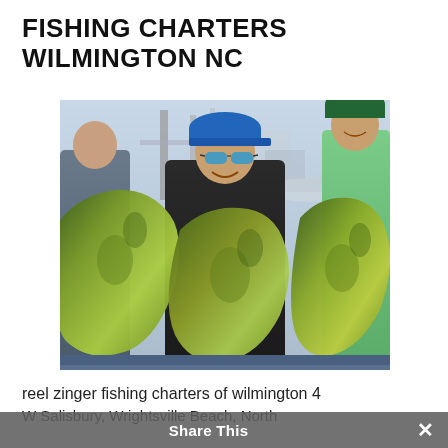FISHING CHARTERS WILMINGTON NC
[Figure (photo): Three people at a marina dock holding large mahi-mahi fish. The man in the center wears a blue cap and sunglasses and a dark jacket, holding two large fish. A person in green shirt on the right and a person in blue/grey on the left are partially visible. Marina boats visible in the background.]
reel zinger fishing charters of wilmington 4
W Salisbury, Wrightsville Beach, North Carolina 28480. United St...